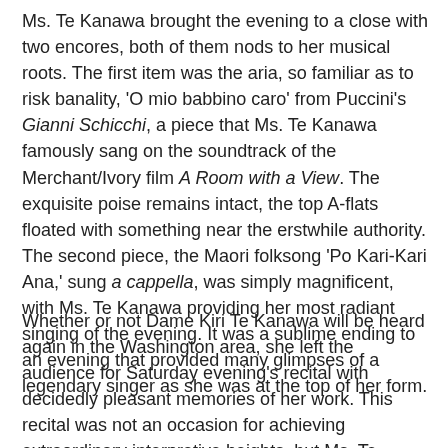Ms. Te Kanawa brought the evening to a close with two encores, both of them nods to her musical roots.  The first item was the aria, so familiar as to risk banality, 'O mio babbino caro' from Puccini's Gianni Schicchi, a piece that Ms. Te Kanawa famously sang on the soundtrack of the Merchant/Ivory film A Room with a View.  The exquisite poise remains intact, the top A-flats floated with something near the erstwhile authority.  The second piece, the Maori folksong 'Po Kari-Kari Ana,' sung a cappella, was simply magnificent, with Ms. Te Kanawa providing her most radiant singing of the evening.  It was a sublime ending to an evening that provided many glimpses of a legendary singer as she was at the top of her form.
Whether or not Dame Kiri Te Kanawa will be heard again in the Washington area, she left the audience for Saturday evening's recital with decidedly pleasant memories of her work.  This recital was not an occasion for achieving extraordinary interpretive heights, but Ms. Te Kanawa reminded her listeners that singing is, above all, about the voice.  Though not what it once was, Ms. Te Kanawa's voice remains a beautiful, even lyric soprano that has been